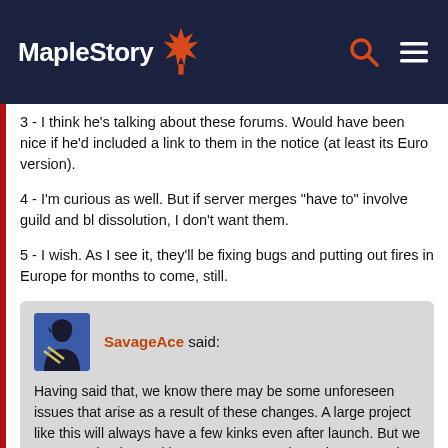MapleStory
3 - I think he's talking about these forums. Would have been nice if he'd included a link to them in the notice (at least its Euro version).
4 - I'm curious as well. But if server merges "have to" involve guild and bl dissolution, I don't want them.
5 - I wish. As I see it, they'll be fixing bugs and putting out fires in Europe for months to come, still.
SavageAce said: Having said that, we know there may be some unforeseen issues that arise as a result of these changes. A large project like this will always have a few kinks even after launch. But we are committed to making sure your experience is as smooth as possible, so we